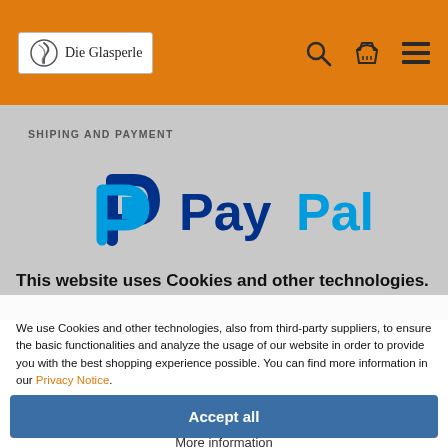Die Glasperle
SHIPING AND PAYMENT
[Figure (logo): PayPal logo with large blue P symbol and PayPal wordmark in blue and light blue]
This website uses Cookies and other technologies.
We use Cookies and other technologies, also from third-party suppliers, to ensure the basic functionalities and analyze the usage of our website in order to provide you with the best shopping experience possible. You can find more information in our Privacy Notice.
Accept all
More information